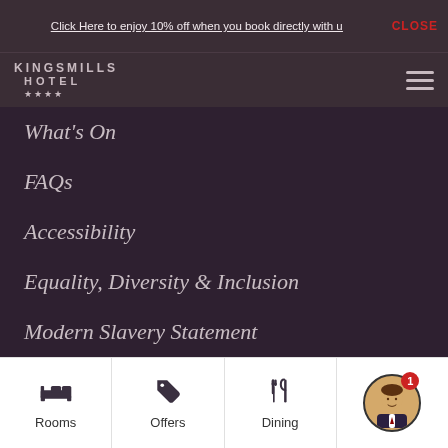Click Here to enjoy 10% off when you book directly with us   CLOSE
KINGSMILLS HOTEL ****
What's On
FAQs
Accessibility
Equality, Diversity & Inclusion
Modern Slavery Statement
Environment
Sitemap
CONTACT US
Rooms   Offers   Dining